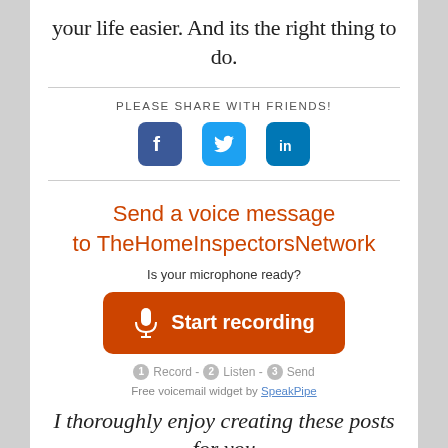your life easier.  And its the right thing to do.
PLEASE SHARE WITH FRIENDS!
[Figure (other): Three social media share icons: Facebook (blue square with f), Twitter (blue square with bird), LinkedIn (blue square with in)]
Send a voice message to TheHomeInspectorsNetwork
Is your microphone ready?
[Figure (other): Orange rounded rectangle button with microphone icon and text 'Start recording']
1 Record - 2 Listen - 3 Send
Free voicemail widget by SpeakPipe
I thoroughly enjoy creating these posts for you